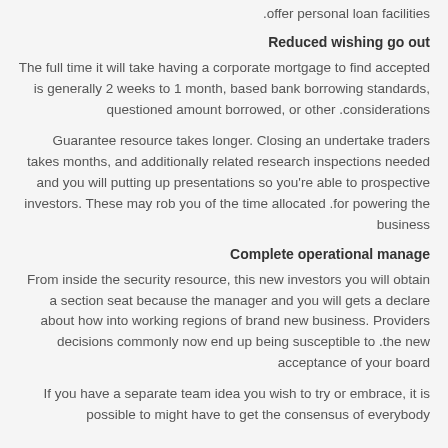.offer personal loan facilities
Reduced wishing go out
The full time it will take having a corporate mortgage to find accepted is generally 2 weeks to 1 month, based bank borrowing standards, questioned amount borrowed, or other .considerations
Guarantee resource takes longer. Closing an undertake traders takes months, and additionally related research inspections needed and you will putting up presentations so you're able to prospective investors. These may rob you of the time allocated .for powering the business
Complete operational manage
From inside the security resource, this new investors you will obtain a section seat because the manager and you will gets a declare about how into working regions of brand new business. Providers decisions commonly now end up being susceptible to .the new acceptance of your board
If you have a separate team idea you wish to try or embrace, it is possible to might have to get the consensus of everybody